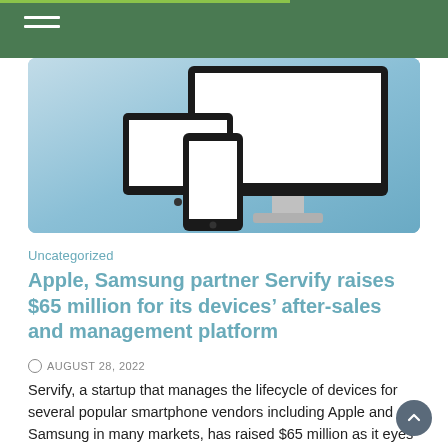[Figure (illustration): Illustration of multiple devices including a desktop monitor, tablet, and smartphone on a blue gradient background]
Uncategorized
Apple, Samsung partner Servify raises $65 million for its devices’ after-sales and management platform
AUGUST 28, 2022
Servify, a startup that manages the lifecycle of devices for several popular smartphone vendors including Apple and Samsung in many markets, has raised $65 million as it eyes becoming a public